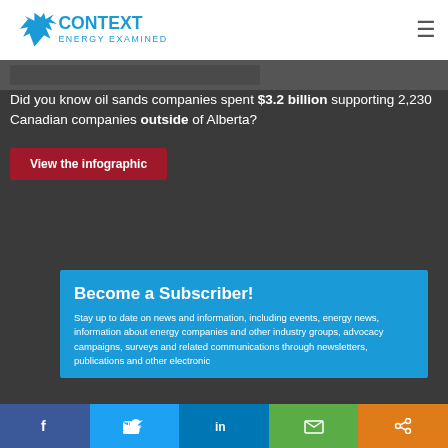Context Energy Examined
[Figure (screenshot): Partial screenshot of a link or navigation strip]
Did you know oil sands companies spent $3.2 billion supporting 2,230 Canadian companies outside of Alberta?
View the infographic
Become a Subscriber!
Stay up to date on news and information, including events, energy news, information about energy companies and other industry groups, advocacy campaigns, surveys and related communications through newsletters, publications and other electronic
[Figure (infographic): Social media share buttons: Facebook, Twitter, LinkedIn, Email, Share]